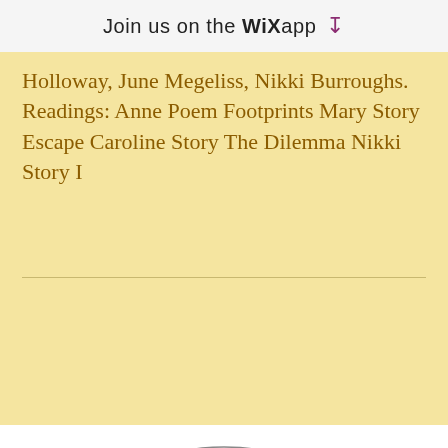Join us on the WiX app ↓
Holloway, June Megeliss, Nikki Burroughs. Readings: Anne Poem Footprints Mary Story Escape Caroline Story The Dilemma Nikki Story I
[Figure (flowchart): A concept map / graphic organizer with five ovals arranged in a cross/diamond pattern. A central large bold-outlined oval in the middle, one oval above connected by an upward blue arrow, one oval below connected by a downward blue arrow, one oval to the left, and one oval to the right.]